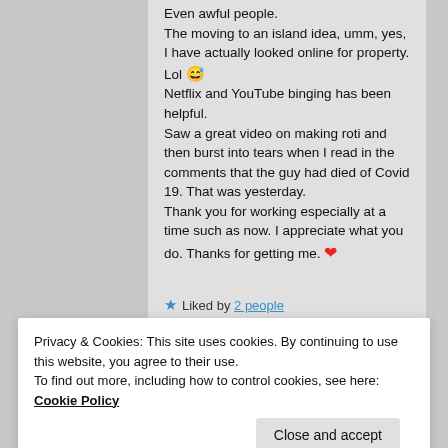Even awful people.
The moving to an island idea, umm, yes, I have actually looked online for property. Lol 😅
Netflix and YouTube binging has been helpful.
Saw a great video on making roti and then burst into tears when I read in the comments that the guy had died of Covid 19. That was yesterday.
Thank you for working especially at a time such as now. I appreciate what you do. Thanks for getting me. ❤
★ Liked by 2 people
Privacy & Cookies: This site uses cookies. By continuing to use this website, you agree to their use.
To find out more, including how to control cookies, see here: Cookie Policy
Close and accept